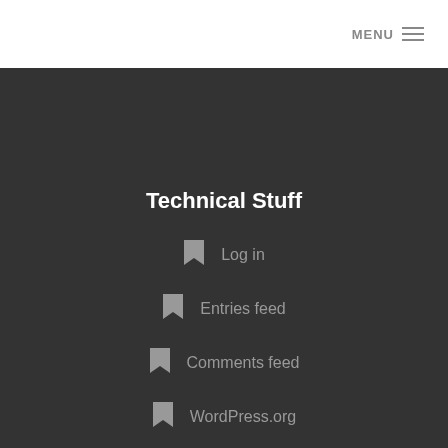MENU
Technical Stuff
Log in
Entries feed
Comments feed
WordPress.org